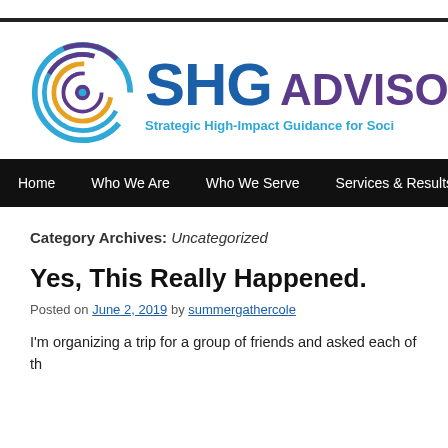[Figure (logo): SHG Advisors logo with circular target icon and text 'SHG ADVISORS — Strategic High-Impact Guidance for Soci...']
Home   Who We Are   Who We Serve   Services & Results   New...
Category Archives: Uncategorized
Yes, This Really Happened.
Posted on June 2, 2019 by summergathercole
I'm organizing a trip for a group of friends and asked each of th...